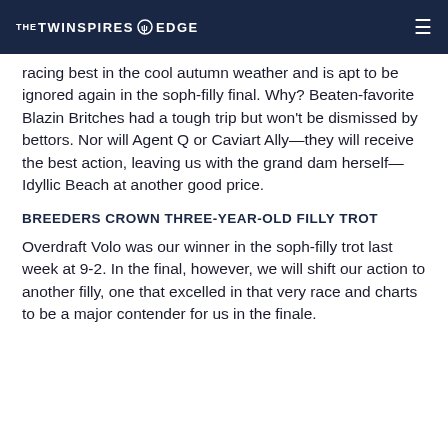THE TWINSPIRES EDGE
racing best in the cool autumn weather and is apt to be ignored again in the soph-filly final. Why? Beaten-favorite Blazin Britches had a tough trip but won't be dismissed by bettors. Nor will Agent Q or Caviart Ally—they will receive the best action, leaving us with the grand dam herself—Idyllic Beach at another good price.
BREEDERS CROWN THREE-YEAR-OLD FILLY TROT
Overdraft Volo was our winner in the soph-filly trot last week at 9-2. In the final, however, we will shift our action to another filly, one that excelled in that very race and charts to be a major contender for us in the finale.